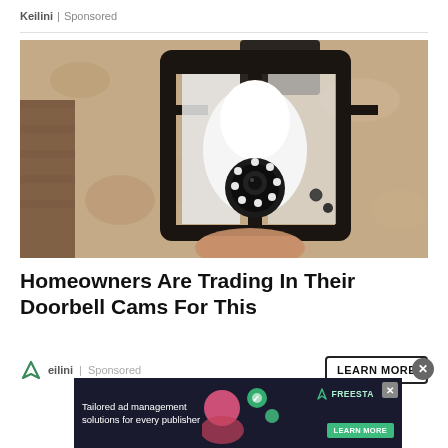Keilini | Sponsored
[Figure (photo): A security camera shaped like a light bulb installed inside a black metal outdoor lantern fixture mounted on a textured stucco wall. A hand is visible at the bottom holding the device.]
Homeowners Are Trading In Their Doorbell Cams For This
Keilini | Sponsored
[Figure (infographic): Advertisement banner for Freestar: 'Tailored ad management solutions for every publisher' with a LEARN MORE button and illustrated graphic of a person with floating icons on a dark background.]